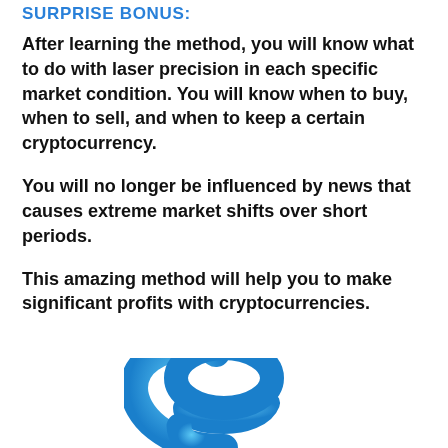SURPRISE BONUS:
After learning the method, you will know what to do with laser precision in each specific market condition. You will know when to buy, when to sell, and when to keep a certain cryptocurrency.
You will no longer be influenced by news that causes extreme market shifts over short periods.
This amazing method will help you to make significant profits with cryptocurrencies.
[Figure (illustration): Blue question mark or puzzle piece icon, partially visible at bottom of page]